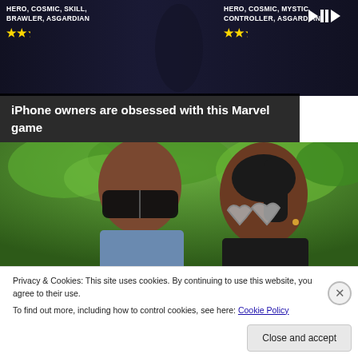[Figure (screenshot): Mobile game advertisement banner showing Marvel characters with star ratings and media playback controls. Left side: HERO, COSMIC, SKILL, BRAWLER, ASGARDIAN with 5 gold stars. Right side: HERO, COSMIC, MYSTIC, CONTROLLER, ASGARDIAN with 5 gold stars and media controls.]
iPhone owners are obsessed with this Marvel game
[Figure (photo): Close-up photo of two people outdoors with green foliage in the background. Left person is a man with short grey hair wearing dark sunglasses. Right person is a woman with dark hair in a ponytail wearing heart-shaped sunglasses.]
Privacy & Cookies: This site uses cookies. By continuing to use this website, you agree to their use.
To find out more, including how to control cookies, see here: Cookie Policy
Close and accept